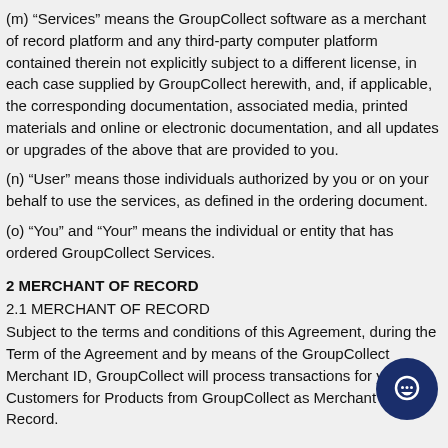(m) “Services” means the GroupCollect software as a merchant of record platform and any third-party computer platform contained therein not explicitly subject to a different license, in each case supplied by GroupCollect herewith, and, if applicable, the corresponding documentation, associated media, printed materials and online or electronic documentation, and all updates or upgrades of the above that are provided to you.
(n) “User” means those individuals authorized by you or on your behalf to use the services, as defined in the ordering document.
(o) “You” and “Your” means the individual or entity that has ordered GroupCollect Services.
2 MERCHANT OF RECORD
2.1 MERCHANT OF RECORD
Subject to the terms and conditions of this Agreement, during the Term of the Agreement and by means of the GroupCollect Merchant ID, GroupCollect will process transactions for you from Customers for Products from GroupCollect as Merchant of Record.